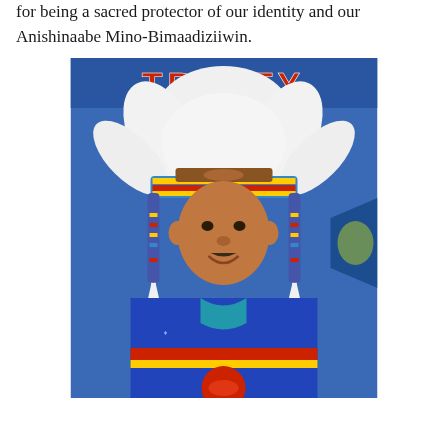for being a sacred protector of our identity and our Anishinaabe Mino-Bimaadiziiwin.
[Figure (photo): A person wearing a traditional Indigenous headdress (war bonnet) with white feathers and colorful beaded band, dressed in a blue ceremonial outfit with ribbon decorations, standing in front of a blue banner that reads TREATY.]